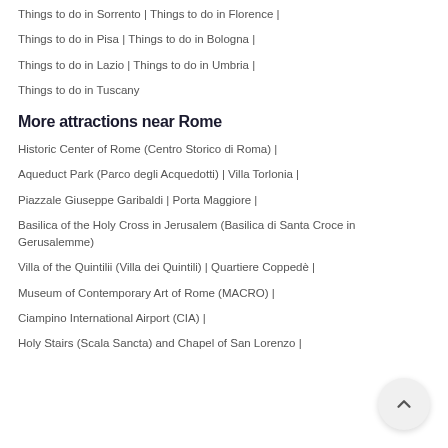Things to do in Sorrento | Things to do in Florence |
Things to do in Pisa | Things to do in Bologna |
Things to do in Lazio | Things to do in Umbria |
Things to do in Tuscany
More attractions near Rome
Historic Center of Rome (Centro Storico di Roma) |
Aqueduct Park (Parco degli Acquedotti) | Villa Torlonia |
Piazzale Giuseppe Garibaldi | Porta Maggiore |
Basilica of the Holy Cross in Jerusalem (Basilica di Santa Croce in Gerusalemme) |
Villa of the Quintilii (Villa dei Quintili) | Quartiere Coppedè |
Museum of Contemporary Art of Rome (MACRO) |
Ciampino International Airport (CIA) |
Holy Stairs (Scala Sancta) and Chapel of San Lorenzo |